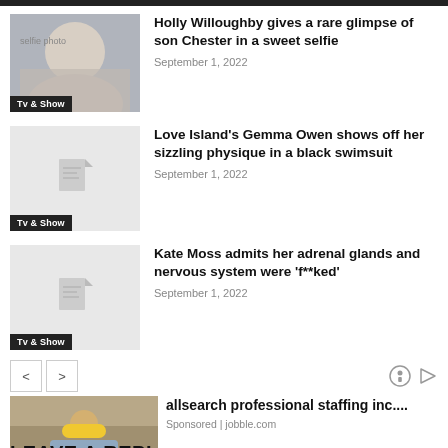[Figure (photo): Top navigation bar, dark/black strip at top of page]
[Figure (photo): Thumbnail of Holly Willoughby selfie with son]
Holly Willoughby gives a rare glimpse of son Chester in a sweet selfie
September 1, 2022
[Figure (photo): Placeholder thumbnail for Love Island article with Tv & Show tag]
Love Island's Gemma Owen shows off her sizzling physique in a black swimsuit
September 1, 2022
[Figure (photo): Placeholder thumbnail for Kate Moss article with Tv & Show tag]
Kate Moss admits her adrenal glands and nervous system were 'f**ked'
September 1, 2022
[Figure (photo): Advertisement image showing construction worker in hard hat]
allsearch professional staffing inc....
Sponsored | jobble.com
LEAVE A REPL